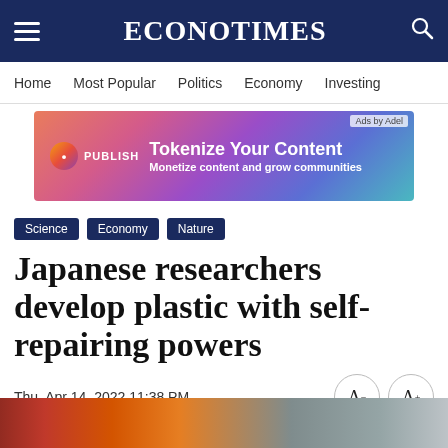EconoTimes
Home | Most Popular | Politics | Economy | Investing
[Figure (screenshot): Advertisement banner: PUBLISH – Tokenize Your Content. Monetize content and grow communities.]
Science
Economy
Nature
Japanese researchers develop plastic with self-repairing powers
Thu, Apr 14, 2022 11:38 PM